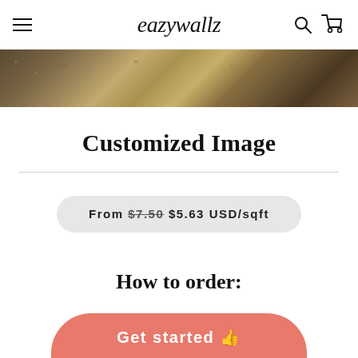eazywallz — navigation header with hamburger menu, logo, search and cart icons
[Figure (photo): Close-up photo of pebbles and earth ground texture in brown and tan tones]
Customized Image
From $7.50 $5.63 USD/sqft
How to order:
Get started